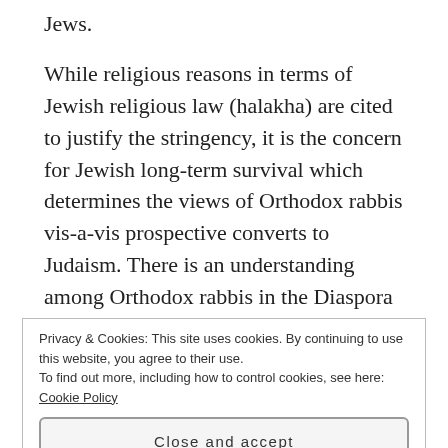Jews.
While religious reasons in terms of Jewish religious law (halakha) are cited to justify the stringency, it is the concern for Jewish long-term survival which determines the views of Orthodox rabbis vis-a-vis prospective converts to Judaism. There is an understanding among Orthodox rabbis in the Diaspora that the descendants of non-Orthodox rabbinic Jews will not remain Jewish as they will inevitably intermarry and assimilate. The reason many conversions to Judaism are not recognized by
Privacy & Cookies: This site uses cookies. By continuing to use this website, you agree to their use.
To find out more, including how to control cookies, see here: Cookie Policy
Close and accept
But those people who are accepted as Jew by the